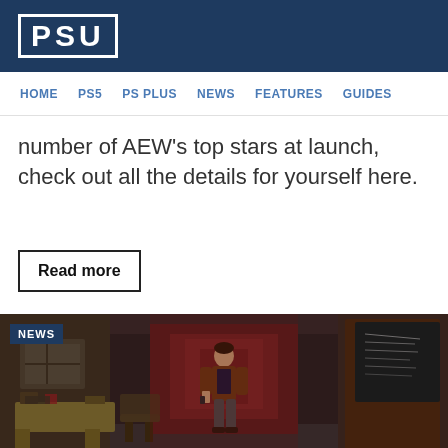PSU
HOME  PS5  PS PLUS  NEWS  FEATURES  GUIDES
number of AEW's top stars at launch, check out all the details for yourself here.
Read more
[Figure (screenshot): NEWS badge overlay on a dark atmospheric video game screenshot showing a character standing in a dimly lit hallway/room with a desk and chairs, resembling a survival horror game environment.]